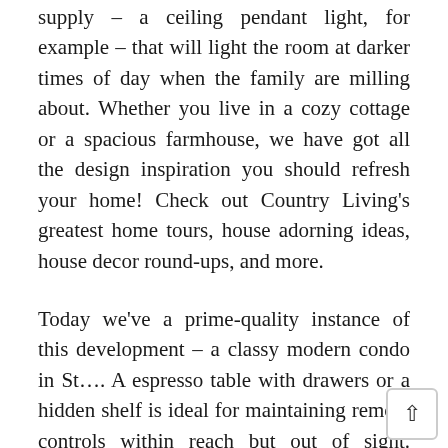supply – a ceiling pendant light, for example – that will light the room at darker times of day when the family are milling about. Whether you live in a cozy cottage or a spacious farmhouse, we have got all the design inspiration you should refresh your home! Check out Country Living's greatest home tours, house adorning ideas, house decor round-ups, and more.
Today we've a prime-quality instance of this development – a classy modern condo in St…. A espresso table with drawers or a hidden shelf is ideal for maintaining remote controls within reach but out of sight. Footstools that open up to reveal a secret storage compartment are one other neat tidying trick, particularly in small residing rooms. Remember to go away loads of room for any